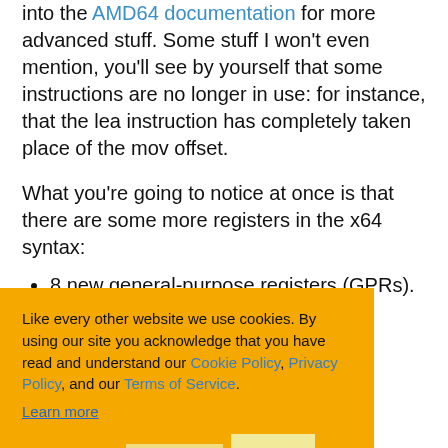into the AMD64 documentation for more advanced stuff. Some stuff I won't even mention, you'll see by yourself that some instructions are no longer in use: for instance, that the lea instruction has completely taken place of the mov offset.
What you're going to notice at once is that there are some more registers in the x64 syntax:
8 new general-purpose registers (GPRs).
rs are 64 bits are easy to rcx, rdx, rsi, nt the instruction e accessed in ax, eax, ax, ah, al. The new registers go from r8 to r15, and can be
Like every other website we use cookies. By using our site you acknowledge that you have read and understand our Cookie Policy, Privacy Policy, and our Terms of Service.
Learn more
Ask me later
Decline
Allow cookies